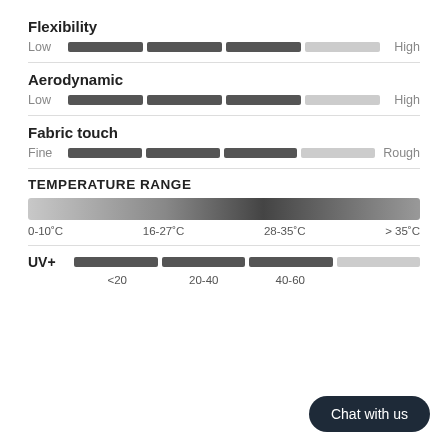Flexibility
[Figure (infographic): Rating bar for Flexibility, Low to High, approximately 3 of 4 segments filled (dark)]
Aerodynamic
[Figure (infographic): Rating bar for Aerodynamic, Low to High, approximately 3 of 4 segments filled (dark)]
Fabric touch
[Figure (infographic): Rating bar for Fabric touch, Fine to Rough, approximately 3 of 4 segments filled (dark)]
TEMPERATURE RANGE
[Figure (infographic): Temperature range gradient bar from light grey to dark to light, with labels: 0-10°C, 16-27°C, 28-35°C, >35°C]
[Figure (infographic): UV+ rating bar with 3 dark segments and 1 light, labels: <20, 20-40, 40-60]
Chat with us